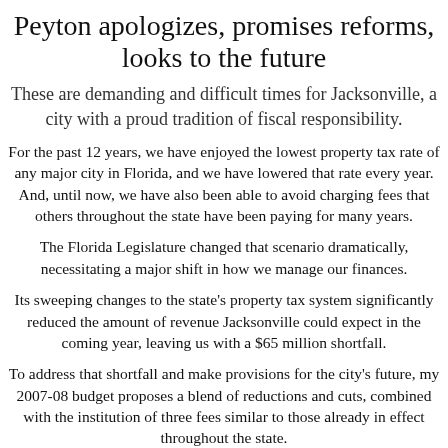Peyton apologizes, promises reforms, looks to the future
These are demanding and difficult times for Jacksonville, a city with a proud tradition of fiscal responsibility.
For the past 12 years, we have enjoyed the lowest property tax rate of any major city in Florida, and we have lowered that rate every year. And, until now, we have also been able to avoid charging fees that others throughout the state have been paying for many years.
The Florida Legislature changed that scenario dramatically, necessitating a major shift in how we manage our finances.
Its sweeping changes to the state's property tax system significantly reduced the amount of revenue Jacksonville could expect in the coming year, leaving us with a $65 million shortfall.
To address that shortfall and make provisions for the city's future, my 2007-08 budget proposes a blend of reductions and cuts, combined with the institution of three fees similar to those already in effect throughout the state.